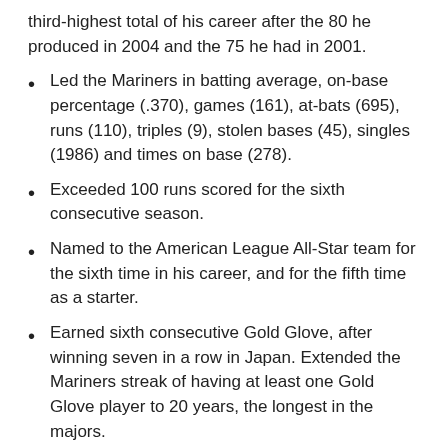third-highest total of his career after the 80 he produced in 2004 and the 75 he had in 2001.
Led the Mariners in batting average, on-base percentage (.370), games (161), at-bats (695), runs (110), triples (9), stolen bases (45), singles (1986) and times on base (278).
Exceeded 100 runs scored for the sixth consecutive season.
Named to the American League All-Star team for the sixth time in his career, and for the fifth time as a starter.
Earned sixth consecutive Gold Glove, after winning seven in a row in Japan. Extended the Mariners streak of having at least one Gold Glove player to 20 years, the longest in the majors.
Started the season in his usual spot in right field, but switched to center on a full-time basis on Aug. 19, the